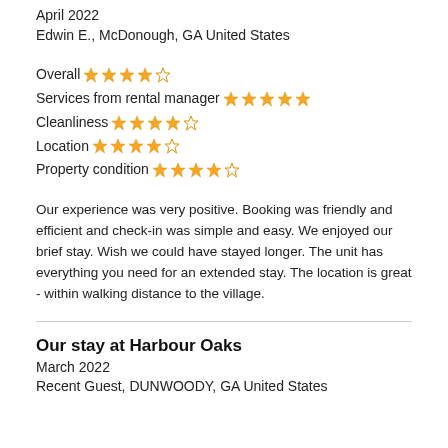April 2022
Edwin E., McDonough, GA United States
Overall ★★★★☆
Services from rental manager ★★★★★
Cleanliness ★★★★☆
Location ★★★★☆
Property condition ★★★★☆
Our experience was very positive. Booking was friendly and efficient and check-in was simple and easy. We enjoyed our brief stay. Wish we could have stayed longer. The unit has everything you need for an extended stay. The location is great - within walking distance to the village.
Our stay at Harbour Oaks
March 2022
Recent Guest, DUNWOODY, GA United States